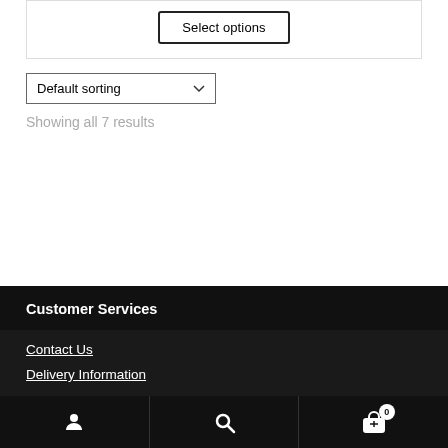Select options
Default sorting
Showing all 7 results
Customer Services
Contact Us
Delivery Information
User | Search | Cart (0)